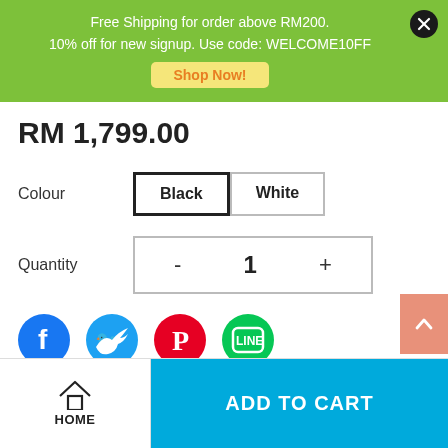Free Shipping for order above RM200.
10% off for new signup. Use code: WELCOME10FF
Shop Now!
RM 1,799.00
Colour   Black   White
Quantity   -  1  +
[Figure (infographic): Social media share icons: Facebook (blue), Twitter (blue), Pinterest (red), LINE (green), and a salmon/coral scroll-to-top arrow button on the right]
HOME   ADD TO CART